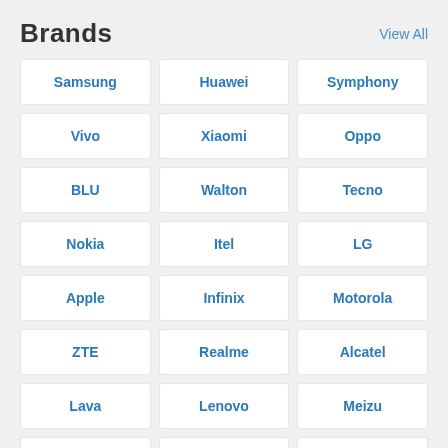Brands
View All
Samsung
Huawei
Symphony
Vivo
Xiaomi
Oppo
BLU
Walton
Tecno
Nokia
Itel
LG
Apple
Infinix
Motorola
ZTE
Realme
Alcatel
Lava
Lenovo
Meizu
Honor
Asus
Sony
Energizer
OnePlus
Allview